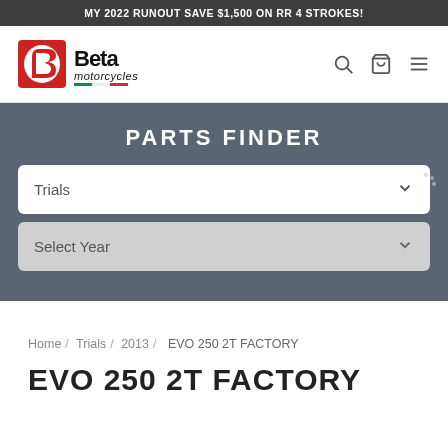MY 2022 RUNOUT SAVE $1,500 ON RR 4 STROKES!
[Figure (logo): Beta Motorcycles logo — red shield emblem with stylized B, bold 'Beta motorcycles' wordmark in black with Italian flag stripe]
PARTS FINDER
Trials
Select Year
Home / Trials / 2013 / EVO 250 2T FACTORY
EVO 250 2T FACTORY